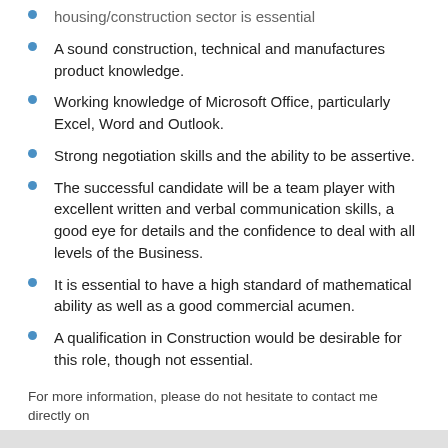housing/construction sector is essential
A sound construction, technical and manufactures product knowledge.
Working knowledge of Microsoft Office, particularly Excel, Word and Outlook.
Strong negotiation skills and the ability to be assertive.
The successful candidate will be a team player with excellent written and verbal communication skills, a good eye for details and the confidence to deal with all levels of the Business.
It is essential to have a high standard of mathematical ability as well as a good commercial acumen.
A qualification in Construction would be desirable for this role, though not essential.
For more information, please do not hesitate to contact me directly on